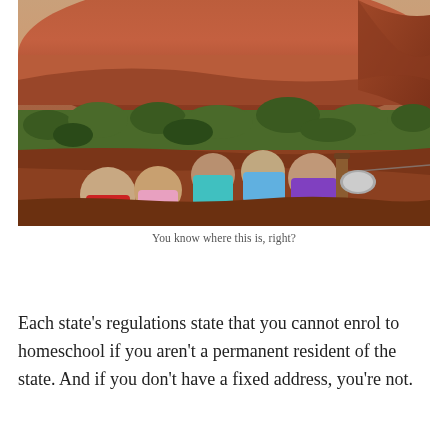[Figure (photo): Five children posing together in front of Uluru (Ayers Rock) in Australia. The children are smiling, wearing colorful clothes. The iconic red sandstone rock formation is visible in the background along with red sandy ground and green scrub vegetation.]
You know where this is, right?
Each state's regulations state that you cannot enrol to homeschool if you aren't a permanent resident of the state. And if you don't have a fixed address, you're not.